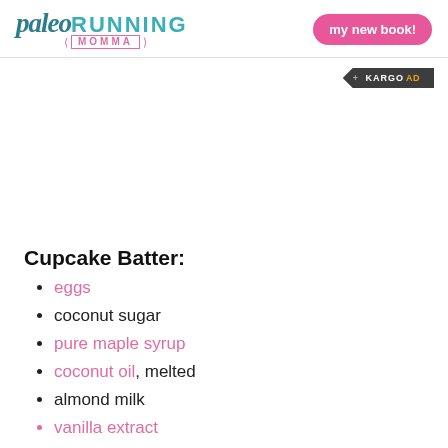paleo RUNNING MOMMA | my new book!
[Figure (logo): Kargo Ad badge in dark gray with arrow shape, text: + KARGO AD]
Cupcake Batter:
eggs
coconut sugar
pure maple syrup
coconut oil, melted
almond milk
vanilla extract